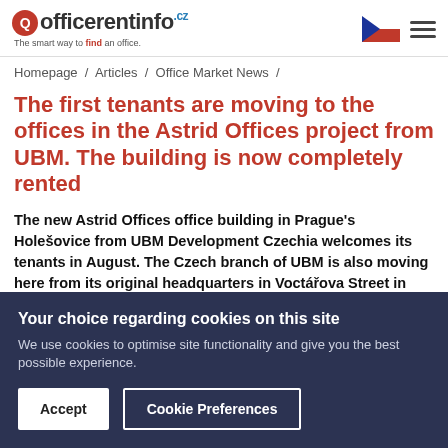officerentinfo.cz — The smart way to find an office.
Homepage / Articles / Office Market News /
The first tenants are moving to the offices in the Astrid Offices project from UBM. The building is now completely rented
The new Astrid Offices office building in Prague's Holešovice from UBM Development Czechia welcomes its tenants in August. The Czech branch of UBM is also moving here from its original headquarters in Voctářova Street in Libeň. The
Your choice regarding cookies on this site
We use cookies to optimise site functionality and give you the best possible experience.
Accept   Cookie Preferences